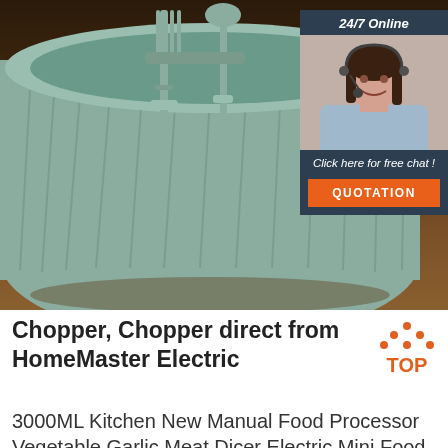[Figure (photo): Product image of a sage green food chopper bowl with fork and spatula blades inside, on a wooden surface background. Overlaid with a 24/7 Online customer service chat widget showing a female agent with headset, 'Click here for free chat!' text, and an orange QUOTATION button.]
Chopper, Chopper direct from HomeMaster Electric
[Figure (logo): TOP logo with orange triangle/chevron dots and orange bold TOP text]
3000ML Kitchen New Manual Food Processor Vegetable Garlic Meat Dicer Electric Mini Food